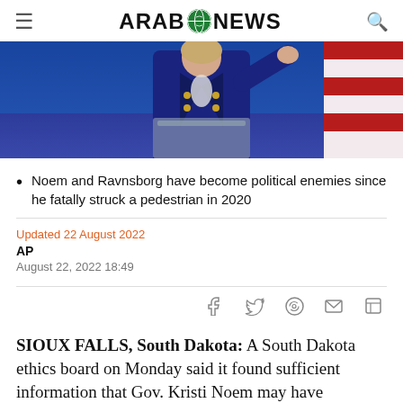ARAB NEWS
[Figure (photo): A woman in a dark navy jacket with gold buttons stands at a clear podium, gesturing with her right hand. An American flag is partially visible in the background.]
Noem and Ravnsborg have become political enemies since he fatally struck a pedestrian in 2020
Updated 22 August 2022
AP
August 22, 2022 18:49
SIOUX FALLS, South Dakota: A South Dakota ethics board on Monday said it found sufficient information that Gov. Kristi Noem may have "engaged in misconduct" when she intervened